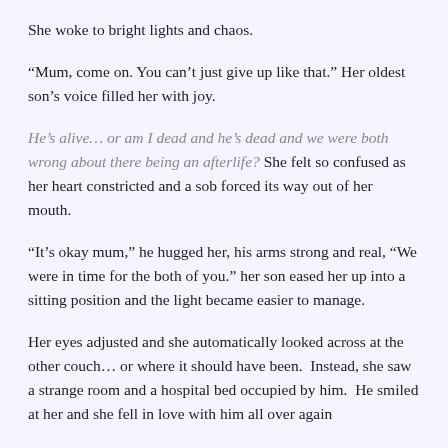She woke to bright lights and chaos.
“Mum, come on. You can’t just give up like that.” Her oldest son’s voice filled her with joy.
He’s alive… or am I dead and he’s dead and we were both wrong about there being an afterlife? She felt so confused as her heart constricted and a sob forced its way out of her mouth.
“It’s okay mum,” he hugged her, his arms strong and real, “We were in time for the both of you.” her son eased her up into a sitting position and the light became easier to manage.
Her eyes adjusted and she automatically looked across at the other couch… or where it should have been.  Instead, she saw a strange room and a hospital bed occupied by him.  He smiled at her and she fell in love with him all over again